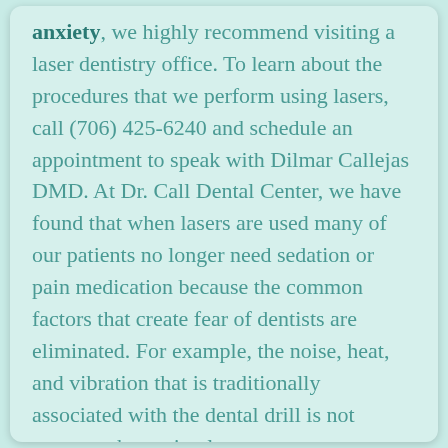anxiety, we highly recommend visiting a laser dentistry office. To learn about the procedures that we perform using lasers, call (706) 425-6240 and schedule an appointment to speak with Dilmar Callejas DMD. At Dr. Call Dental Center, we have found that when lasers are used many of our patients no longer need sedation or pain medication because the common factors that create fear of dentists are eliminated. For example, the noise, heat, and vibration that is traditionally associated with the dental drill is not present when using lasers.
To learn more about sedation dentistry, new dental technology or how to reduce your dental anxiety, call and schedule an